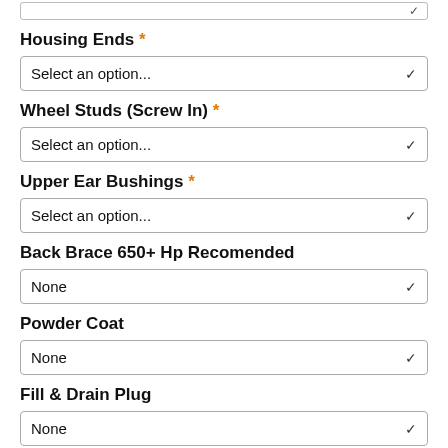Housing Ends *
Select an option...
Wheel Studs (Screw In) *
Select an option...
Upper Ear Bushings *
Select an option...
Back Brace 650+ Hp Recomended
None
Powder Coat
None
Fill & Drain Plug
None
Lube Locker Gasket